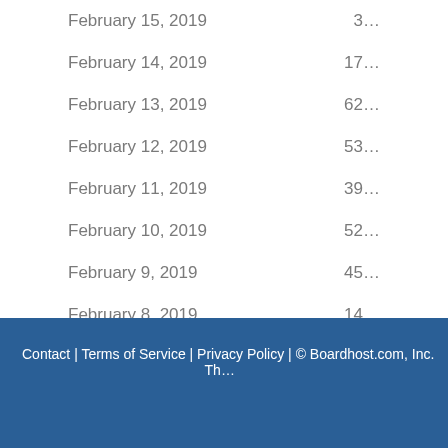February 15, 2019   3…
February 14, 2019   17…
February 13, 2019   62…
February 12, 2019   53…
February 11, 2019   39…
February 10, 2019   52…
February 9, 2019   45…
February 8, 2019   14…
Page: < 1 2 3 4 5 6 7 8 9 10 11 12 13 14 15 16 17 18 19 20 21 22 23 24 25 26 …
Contact | Terms of Service | Privacy Policy | © Boardhost.com, Inc.   Th…